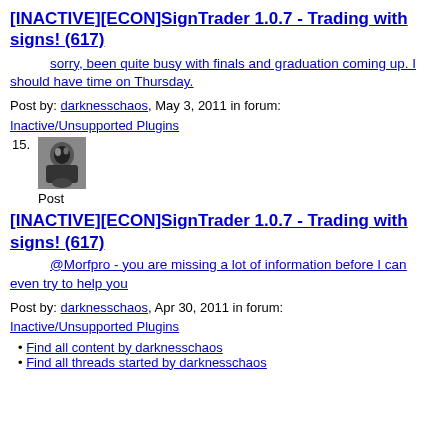[INACTIVE][ECON]SignTrader 1.0.7 - Trading with signs! (617)
sorry, been quite busy with finals and graduation coming up. I should have time on Thursday.
Post by: darknesschaos, May 3, 2011 in forum: Inactive/Unsupported Plugins
15. Post
[INACTIVE][ECON]SignTrader 1.0.7 - Trading with signs! (617)
@Morfpro - you are missing a lot of information before I can even try to help you
Post by: darknesschaos, Apr 30, 2011 in forum: Inactive/Unsupported Plugins
Find all content by darknesschaos
Find all threads started by darknesschaos